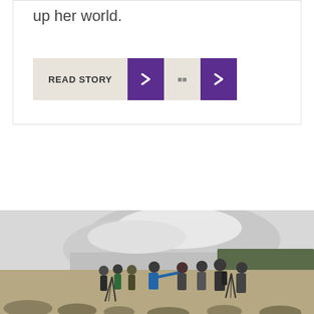up her world.
READ STORY
[Figure (photo): Group of people including students and a guide in winter clothing standing outdoors in a snowy mountain landscape, some with camera tripods, one person in a blue jacket pointing into the distance.]